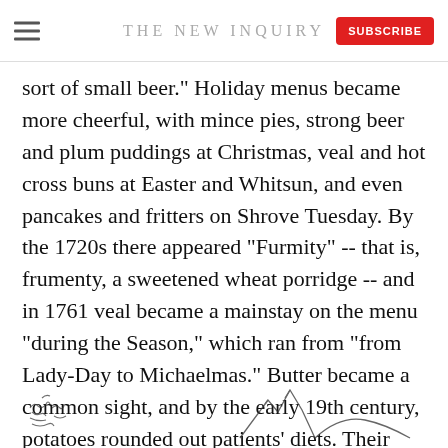THE NEW INQUIRY
sort of small beer." Holiday menus became more cheerful, with mince pies, strong beer and plum puddings at Christmas, veal and hot cross buns at Easter and Whitsun, and even pancakes and fritters on Shrove Tuesday. By the 1720s there appeared "Furmity" -- that is, frumenty, a sweetened wheat porridge -- and in 1761 veal became a mainstay on the menu "during the Season," which ran from "from Lady-Day to Michaelmas." Butter became a common sight, and by the early 19th century, potatoes rounded out patients' diets. Their portions also grew.
[Figure (illustration): Handwritten text/signature and a sketch of mountains or hills at the bottom of the page]